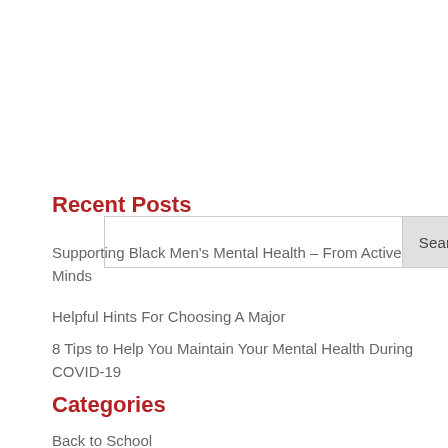[Figure (screenshot): Search input box with a Search button on the right side]
Recent Posts
Supporting Black Men's Mental Health – From Active Minds
Helpful Hints For Choosing A Major
8 Tips to Help You Maintain Your Mental Health During COVID-19
Categories
Back to School
CampusGeek